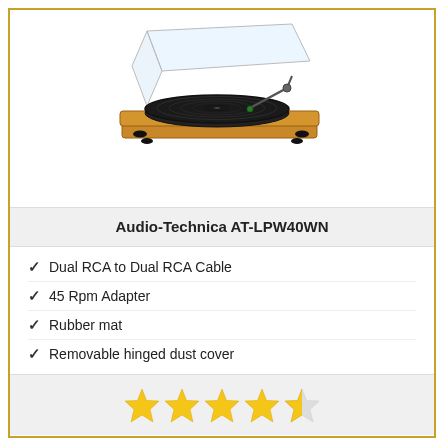[Figure (photo): Audio-Technica AT-LPW40WN turntable with walnut wood base, black platter, clear dust cover open, and tonearm visible on right side]
Audio-Technica AT-LPW40WN
Dual RCA to Dual RCA Cable
45 Rpm Adapter
Rubber mat
Removable hinged dust cover
[Figure (other): 4.5 out of 5 stars rating displayed as gold star icons]